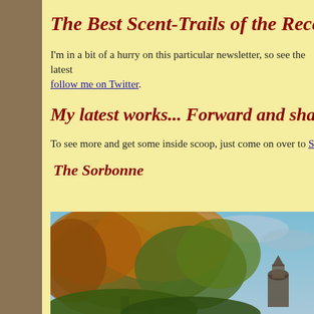The Best Scent-Trails of the Recent
I'm in a bit of a hurry on this particular newsletter, so see the latest follow me on Twitter.
My latest works... Forward and share
To see more and get some inside scoop, just come on over to Stuck
The Sorbonne
[Figure (photo): Autumn trees with orange and green foliage in foreground, a building dome or tower visible in the background against a blue cloudy sky — appears to be the Sorbonne in Paris.]